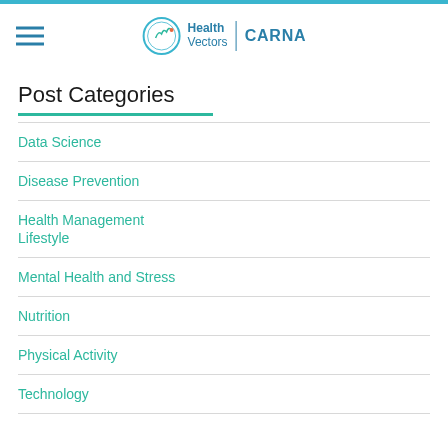Health Vectors | CARNA
Post Categories
Data Science
Disease Prevention
Health Management
Lifestyle
Mental Health and Stress
Nutrition
Physical Activity
Technology